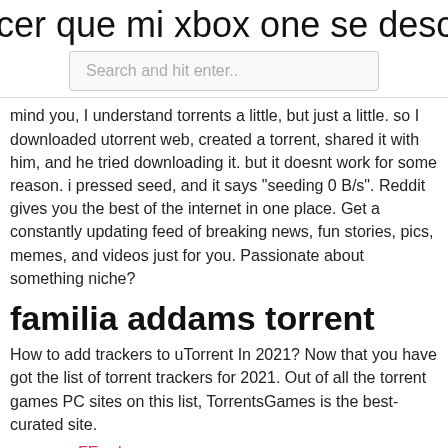cer que mi xbox one se descargue m
[Figure (screenshot): Search bar with placeholder text 'Search and hit enter..']
mind you, I understand torrents a little, but just a little. so I downloaded utorrent web, created a torrent, shared it with him, and he tried downloading it. but it doesnt work for some reason. i pressed seed, and it says "seeding 0 B/s". Reddit gives you the best of the internet in one place. Get a constantly updating feed of breaking news, fun stories, pics, memes, and videos just for you. Passionate about something niche?
familia addams torrent
How to add trackers to uTorrent In 2021? Now that you have got the list of torrent trackers for 2021. Out of all the torrent games PC sites on this list, TorrentsGames is the best-curated site.
FEwch
complemento de película kodi mejor